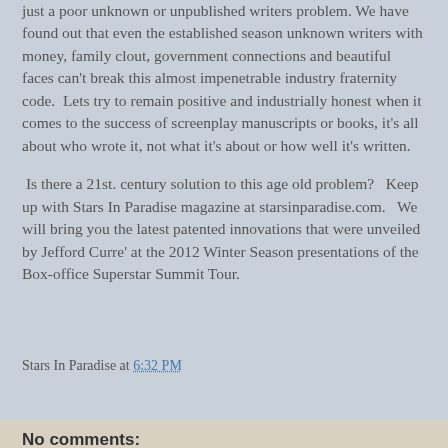just a poor unknown or unpublished writers problem. We have found out that even the established season unknown writers with money, family clout, government connections and beautiful faces can't break this almost impenetrable industry fraternity code.  Lets try to remain positive and industrially honest when it comes to the success of screenplay manuscripts or books, it's all about who wrote it, not what it's about or how well it's written.
Is there a 21st. century solution to this age old problem?   Keep up with Stars In Paradise magazine at starsinparadise.com.   We will bring you the latest patented innovations that were unveiled by Jefford Curre' at the 2012 Winter Season presentations of the  Box-office Superstar Summit Tour.
Stars In Paradise at 6:32 PM
Share
No comments: